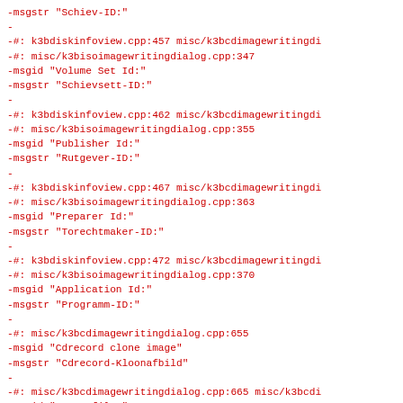-msgstr "Schiev-ID:"
-
-#: k3bdiskinfoview.cpp:457 misc/k3bcdimagewritingdi
-#: misc/k3bisoimagewritingdialog.cpp:347
-msgid "Volume Set Id:"
-msgstr "Schievsett-ID:"
-
-#: k3bdiskinfoview.cpp:462 misc/k3bcdimagewritingdi
-#: misc/k3bisoimagewritingdialog.cpp:355
-msgid "Publisher Id:"
-msgstr "Rutgever-ID:"
-
-#: k3bdiskinfoview.cpp:467 misc/k3bcdimagewritingdi
-#: misc/k3bisoimagewritingdialog.cpp:363
-msgid "Preparer Id:"
-msgstr "Torechtmaker-ID:"
-
-#: k3bdiskinfoview.cpp:472 misc/k3bcdimagewritingdi
-#: misc/k3bisoimagewritingdialog.cpp:370
-msgid "Application Id:"
-msgstr "Programm-ID:"
-
-#: misc/k3bcdimagewritingdialog.cpp:655
-msgid "Cdrecord clone image"
-msgstr "Cdrecord-Kloonafbild"
-
-#: misc/k3bcdimagewritingdialog.cpp:665 misc/k3bcdi
-msgid "Image file:"
-msgstr "Afbilddatei:"
-